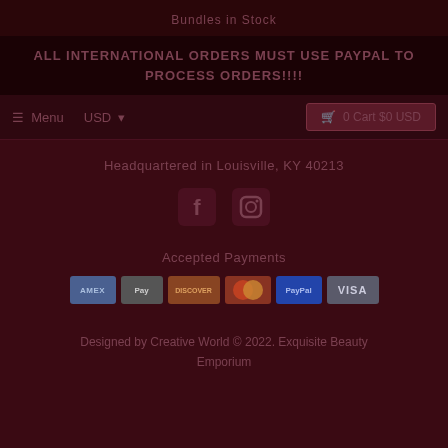Bundles in Stock
ALL INTERNATIONAL ORDERS MUST USE PAYPAL TO PROCESS ORDERS!!!!
☰ Menu   USD ▾   🛒 0 Cart $0 USD
Headquartered in Louisville, KY 40213
[Figure (infographic): Facebook and Instagram social media icons]
Accepted Payments
[Figure (infographic): Payment method badges: American Express, Apple Pay, Discover, Mastercard, PayPal, VISA]
Designed by Creative World © 2022. Exquisite Beauty Emporium